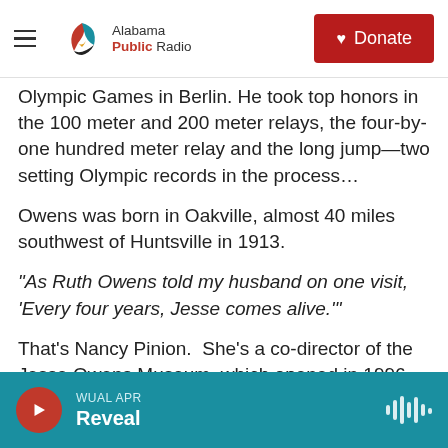Alabama Public Radio — Donate
Olympic Games in Berlin. He took top honors in the 100 meter and 200 meter relays, the four-by-one hundred meter relay and the long jump—two setting Olympic records in the process…
Owens was born in Oakville, almost 40 miles southwest of Huntsville in 1913.
“As Ruth Owens told my husband on one visit, ‘Every four years, Jesse comes alive.’”
That’s Nancy Pinion. She’s a co-director of the Jesse Owens Museum, which opened in 1996.
WUAL APR — Reveal